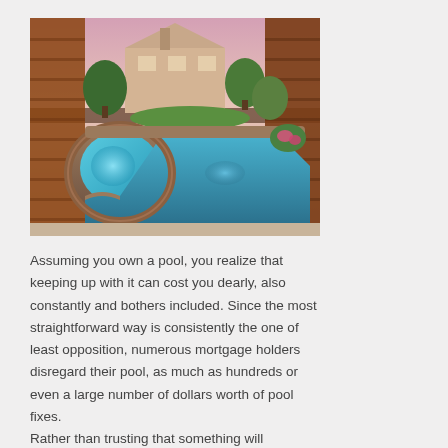[Figure (photo): Backyard swimming pool with an attached hot tub/spa surrounded by stone coping, photographed at dusk with glowing blue underwater lights. Brick house and fence visible in background with trees and landscaping.]
Assuming you own a pool, you realize that keeping up with it can cost you dearly, also constantly and bothers included. Since the most straightforward way is consistently the one of least opposition, numerous mortgage holders disregard their pool, as much as hundreds or even a large number of dollars worth of pool fixes.
Rather than trusting that something will